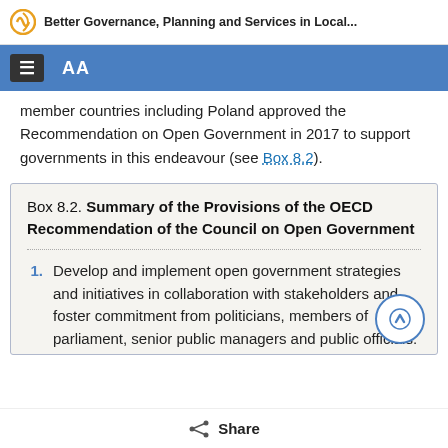Better Governance, Planning and Services in Local...
member countries including Poland approved the Recommendation on Open Government in 2017 to support governments in this endeavour (see Box 8.2).
Box 8.2. Summary of the Provisions of the OECD Recommendation of the Council on Open Government
Develop and implement open government strategies and initiatives in collaboration with stakeholders and foster commitment from politicians, members of parliament, senior public managers and public officials.